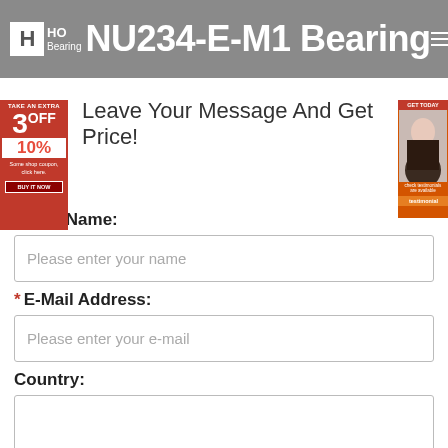FAG NU234-E-M1 Bearing
[Figure (infographic): Red advertisement banner on left side: TAKE AN EXTRA 3OFF 10% promotional badge with BUY NOW button]
[Figure (infographic): Orange advertisement banner on right side with a person's face photo and GET TODAY button]
Leave Your Message And Get Price!
* Your Name:
Please enter your name
* E-Mail Address:
Please enter your e-mail
Country:
WhatsApp: